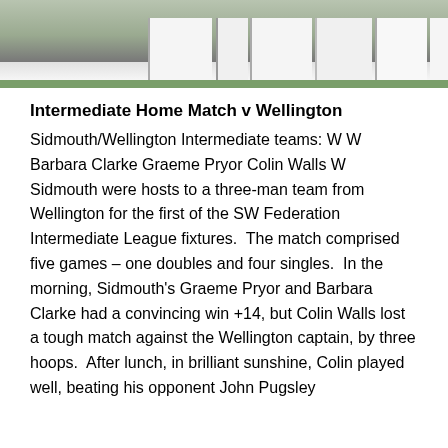[Figure (photo): Cropped photo showing lower bodies of cricket players in white trousers standing on a green lawn]
Intermediate Home Match v Wellington
Sidmouth/Wellington Intermediate teams: W W Barbara Clarke Graeme Pryor Colin Walls W
Sidmouth were hosts to a three-man team from Wellington for the first of the SW Federation Intermediate League fixtures.  The match comprised five games – one doubles and four singles.  In the morning, Sidmouth's Graeme Pryor and Barbara Clarke had a convincing win +14, but Colin Walls lost a tough match against the Wellington captain, by three hoops.  After lunch, in brilliant sunshine, Colin played well, beating his opponent John Pugsley